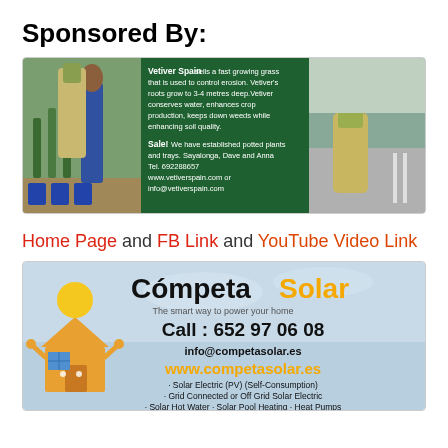Sponsored By:
[Figure (photo): Vetiver Spain advertisement banner showing two photos of people with vetiver grass plants and a green center panel with text describing the product and sale information.]
Home Page and FB Link and YouTube Video Link
[Figure (photo): Competa Solar advertisement banner with house character mascot, company name, phone number 652 97 06 08, email info@competasolar.es, website www.competasolar.es, and list of services including Solar Electric (PV) (Self-Consumption), Grid Connected or Off Grid Solar Electric, Solar Hot Water, Solar Pool Heating, Heat Pumps.]